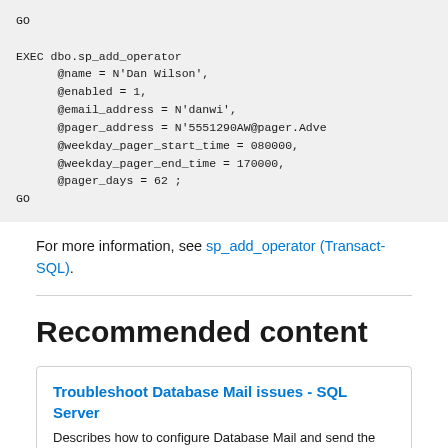GO

EXEC dbo.sp_add_operator
    @name = N'Dan Wilson',
    @enabled = 1,
    @email_address = N'danwi',
    @pager_address = N'5551290AW@pager.Adve
    @weekday_pager_start_time = 080000,
    @weekday_pager_end_time = 170000,
    @pager_days = 62 ;
GO
For more information, see sp_add_operator (Transact-SQL).
Recommended content
Troubleshoot Database Mail issues - SQL Server
Describes how to configure Database Mail and send the test mail. Provides troubleshooting methods for the Database Mail